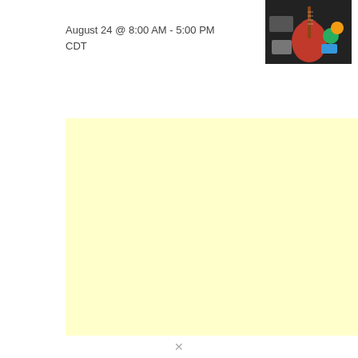August 24 @ 8:00 AM - 5:00 PM CDT
[Figure (photo): A photo showing musical instruments including what appears to be a guitar and other items on a dark background with colorful objects]
[Figure (other): A large light yellow/cream colored advertisement placeholder block]